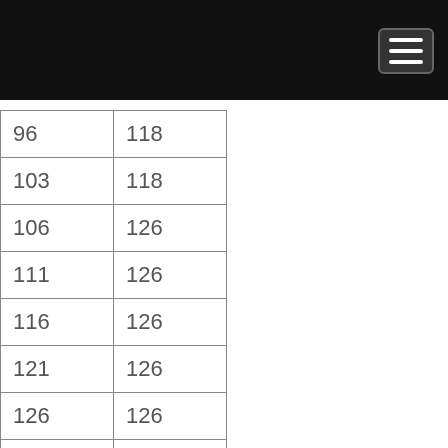| 96 | 118 |
| 103 | 118 |
| 106 | 126 |
| 111 | 126 |
| 116 | 126 |
| 121 | 126 |
| 126 | 126 |
| 131 | 126 |